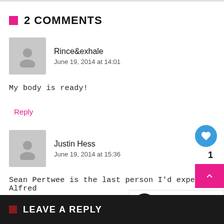2 COMMENTS
Rince&exhale
June 19, 2014 at 14:01
My body is ready!
Reply
Justin Hess
June 19, 2014 at 15:36
Sean Pertwee is the last person I'd expect for Alfred
Reply
LEAVE A REPLY